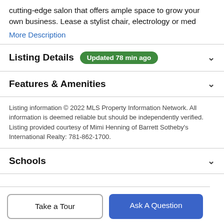cutting-edge salon that offers ample space to grow your own business. Lease a stylist chair, electrology or med
More Description
Listing Details  Updated 78 min ago
Features & Amenities
Listing information © 2022 MLS Property Information Network. All information is deemed reliable but should be independently verified. Listing provided courtesy of Mimi Henning of Barrett Sotheby's International Realty: 781-862-1700.
Schools
Take a Tour
Ask A Question